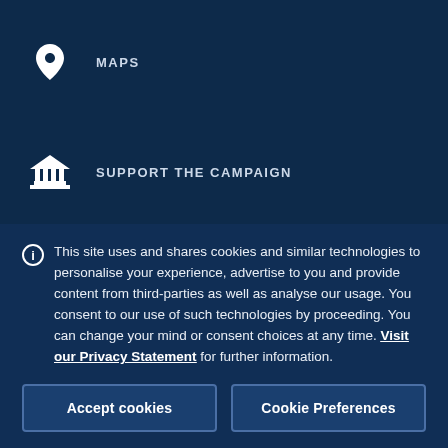MAPS
SUPPORT THE CAMPAIGN
JOBS
This site uses and shares cookies and similar technologies to personalise your experience, advertise to you and provide content from third-parties as well as analyse our usage. You consent to our use of such technologies by proceeding. You can change your mind or consent choices at any time. Visit our Privacy Statement for further information.
Accept cookies
Cookie Preferences